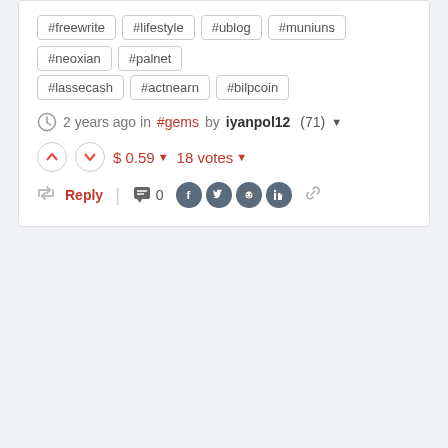#freewrite #lifestyle #ublog #muniuns #neoxian #palnet
#lassecash #actnearn #bilpcoin
2 years ago in #gems by iyanpol12 (71)
$ 0.59  18 votes
Reply  0  [Facebook] [Twitter] [Reddit] [LinkedIn] [link]